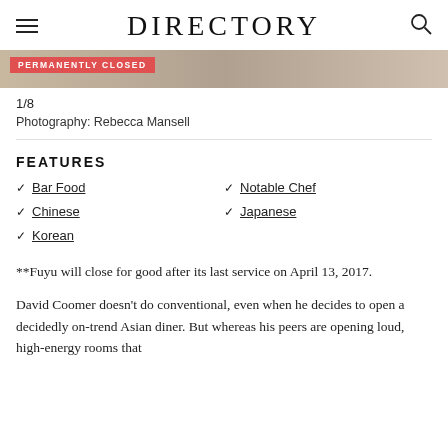DIRECTORY
[Figure (photo): Partially visible restaurant interior photo with a red 'PERMANENTLY CLOSED' badge overlay]
1/8
Photography: Rebecca Mansell
FEATURES
Bar Food
Notable Chef
Chinese
Japanese
Korean
**Fuyu will close for good after its last service on April 13, 2017.
David Coomer doesn't do conventional, even when he decides to open a decidedly on-trend Asian diner. But whereas his peers are opening loud, high-energy rooms that